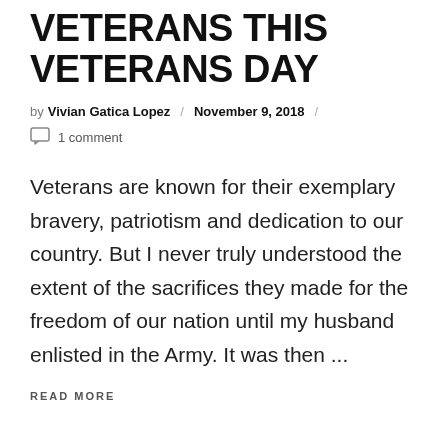VETERANS THIS VETERANS DAY
by Vivian Gatica Lopez / November 9, 2018 /
1 comment
Veterans are known for their exemplary bravery, patriotism and dedication to our country. But I never truly understood the extent of the sacrifices they made for the freedom of our nation until my husband enlisted in the Army. It was then ...
READ MORE